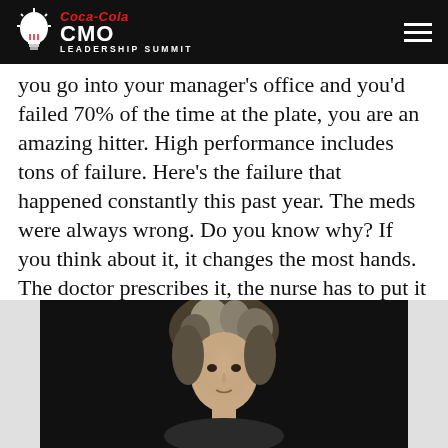Coca-Cola CMO LEADERSHIP SUMMIT
you go into your manager's office and you'd failed 70% of the time at the plate, you are an amazing hitter. High performance includes tons of failure. Here's the failure that happened constantly this past year. The meds were always wrong. Do you know why? If you think about it, it changes the most hands. The doctor prescribes it, the nurse has to put it in, they've got to go to Walgreens, Walgreens has to go back over here. We get these sheets and so what I've learned pretty quickly is like, “We're going to go over these three times and then we'd always find a mistake.”
[Figure (photo): Portrait photo of a person with medium-length hair against a dark background, shown from shoulders up]